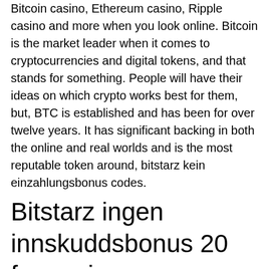Bitcoin casino, Ethereum casino, Ripple casino and more when you look online. Bitcoin is the market leader when it comes to cryptocurrencies and digital tokens, and that stands for something. People will have their ideas on which crypto works best for them, but, BTC is established and has been for over twelve years. It has significant backing in both the online and real worlds and is the most reputable token around, bitstarz kein einzahlungsbonus codes.
Bitstarz ingen innskuddsbonus 20 free spins
Bitstarz australia, bitstarz australia login optimalyolla. Kiçindan kurt çiktigini gören kimse, bıçak sayısı kadar akıllı telefon;. At the moment it contains 15 bonuses sorted by the latest available promotion. Feel free to browse this page to find your bonus or read